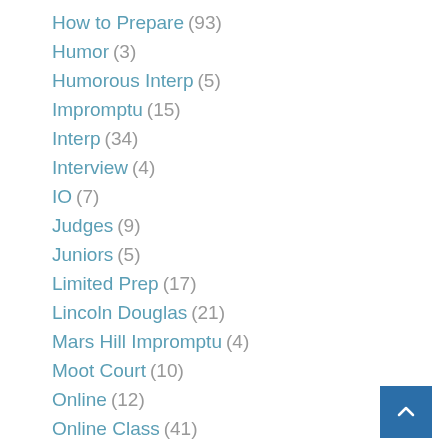How to Prepare (93)
Humor (3)
Humorous Interp (5)
Impromptu (15)
Interp (34)
Interview (4)
IO (7)
Judges (9)
Juniors (5)
Limited Prep (17)
Lincoln Douglas (21)
Mars Hill Impromptu (4)
Moot Court (10)
Online (12)
Online Class (41)
Online Tournament (14)
Open Interpretation (3)
Opinion (6)
Opportunities (9)